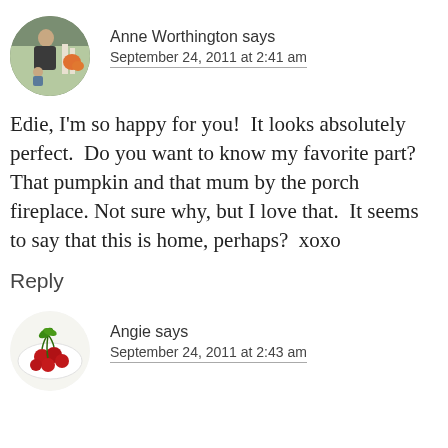[Figure (photo): Circular avatar photo of Anne Worthington, a woman outdoors with greenery and orange pumpkins visible]
Anne Worthington says
September 24, 2011 at 2:41 am
Edie, I'm so happy for you!  It looks absolutely perfect.  Do you want to know my favorite part?  That pumpkin and that mum by the porch fireplace. Not sure why, but I love that.  It seems to say that this is home, perhaps?  xoxo
Reply
[Figure (photo): Circular avatar photo showing a white plate with red cherries and green leaves]
Angie says
September 24, 2011 at 2:43 am